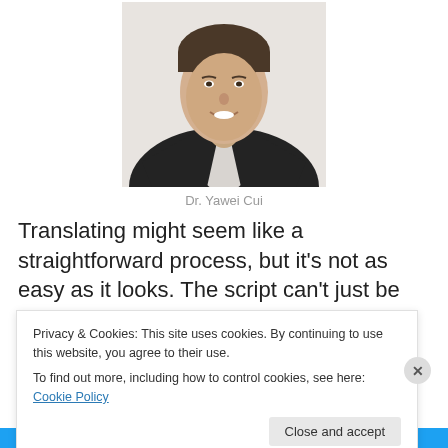[Figure (photo): Headshot of Dr. Yawei Cui, a man in a dark suit jacket and light shirt, smiling, against a white background.]
Dr. Yawei Cui
Translating might seem like a straightforward process, but it's not as easy as it looks. The script can't just be translated word for word. There is a limited amount of
Privacy & Cookies: This site uses cookies. By continuing to use this website, you agree to their use.
To find out more, including how to control cookies, see here: Cookie Policy
Close and accept